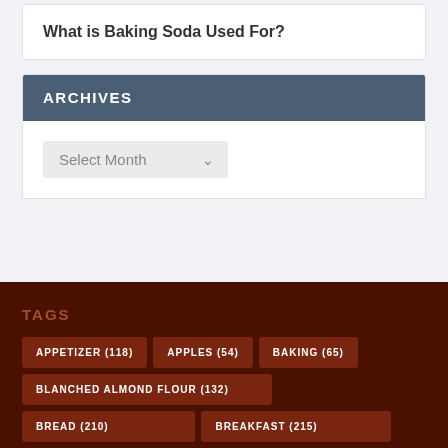What is Baking Soda Used For?
ARCHIVES
Select Month
TAGS
APPETIZER (118)
APPLES (54)
BAKING (65)
BLANCHED ALMOND FLOUR (132)
BREAD (210)
BREAKFAST (215)
BUTTERMILK POWDER (43)